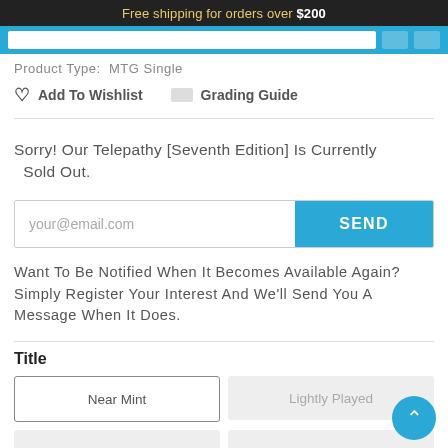Free shipping for orders over $200
Product Type: MTG Single
Add To Wishlist   Grading Guide
Sorry! Our Telepathy [Seventh Edition] Is Currently Sold Out.
your@email.com  SEND
Want To Be Notified When It Becomes Available Again? Simply Register Your Interest And We'll Send You A Message When It Does.
Title
Near Mint
Lightly Played
Moderately Played
Heavily Played